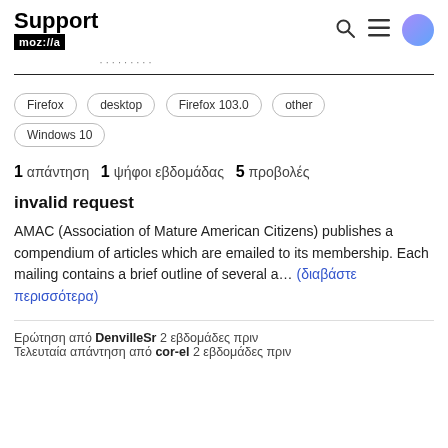Support mozilla
Firefox  desktop  Firefox 103.0  other  Windows 10
1 απάντηση  1 ψήφοι εβδομάδας  5 προβολές
invalid request
AMAC (Association of Mature American Citizens) publishes a compendium of articles which are emailed to its membership. Each mailing contains a brief outline of several a… (διαβάστε περισσότερα)
Ερώτηση από DenvilleSr 2 εβδομάδες πριν
Τελευταία απάντηση από cor-el 2 εβδομάδες πριν